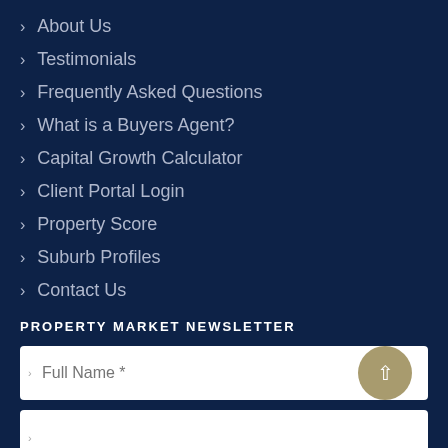About Us
Testimonials
Frequently Asked Questions
What is a Buyers Agent?
Capital Growth Calculator
Client Portal Login
Property Score
Suburb Profiles
Contact Us
PROPERTY MARKET NEWSLETTER
Full Name *
Email Address *